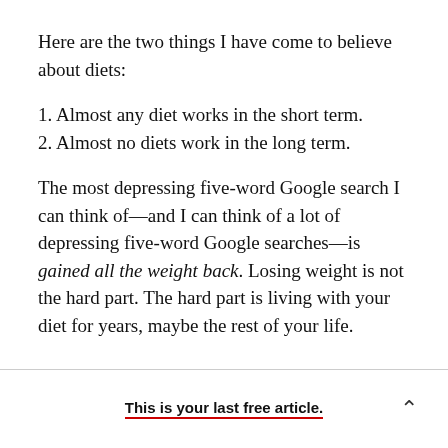Here are the two things I have come to believe about diets:
1. Almost any diet works in the short term.
2. Almost no diets work in the long term.
The most depressing five-word Google search I can think of—and I can think of a lot of depressing five-word Google searches—is gained all the weight back. Losing weight is not the hard part. The hard part is living with your diet for years, maybe the rest of your life.
This is your last free article.